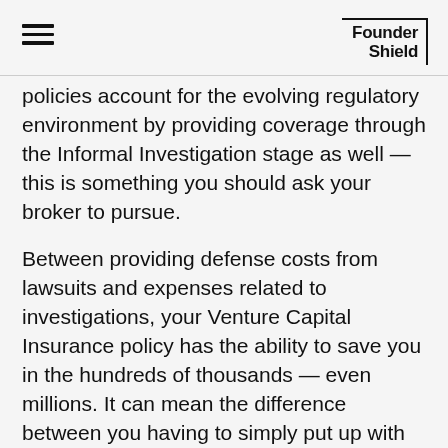Founder Shield
policies account for the evolving regulatory environment by providing coverage through the Informal Investigation stage as well — this is something you should ask your broker to pursue.
Between providing defense costs from lawsuits and expenses related to investigations, your Venture Capital Insurance policy has the ability to save you in the hundreds of thousands — even millions. It can mean the difference between you having to simply put up with an nuisance investigation and you having to make some really tough financial organizational decisions just to keep up with lawyers' bills.